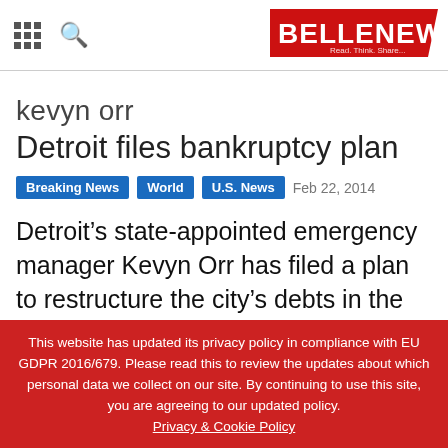BELLENEWS – Read. Think. Share.
kevyn orr
Detroit files bankruptcy plan
Breaking News | World | U.S. News  Feb 22, 2014
Detroit’s state-appointed emergency manager Kevyn Orr has filed a plan to restructure the city’s debts in the wake of
This website has updated its privacy policy in compliance with EU GDPR 2016/679. Please read this to review the updates about which personal data we collect on our site. By continuing to use this site, you are agreeing to our updated policy.
Privacy & Cookie Policy